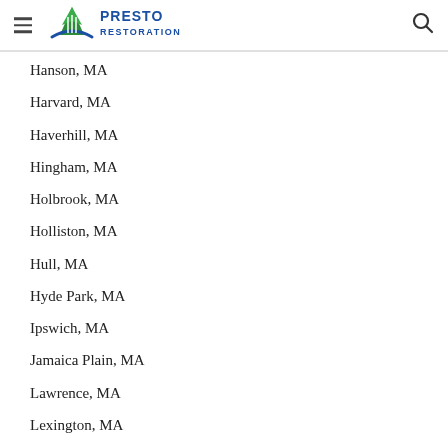Presto Restoration
Hanson, MA
Harvard, MA
Haverhill, MA
Hingham, MA
Holbrook, MA
Holliston, MA
Hull, MA
Hyde Park, MA
Ipswich, MA
Jamaica Plain, MA
Lawrence, MA
Lexington, MA
Littleton, MA
Lowell, MA
Lower Mills, MA
Lynn, MA